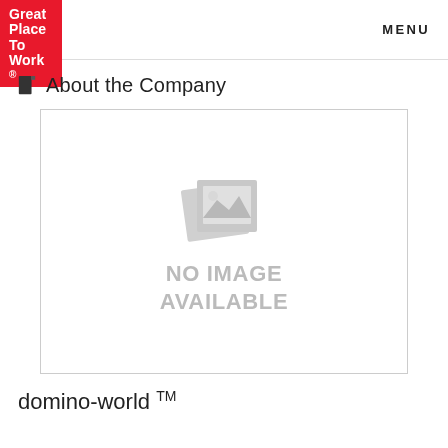Great Place To Work® | MENU
About the Company
[Figure (illustration): Placeholder image showing 'NO IMAGE AVAILABLE' with a broken image icon in grey]
domino-world TM